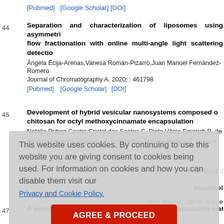[Pubmed]  [Google Scholar] [DOI]
44
Separation and characterization of liposomes using asymmetric flow fractionation with online multi-angle light scattering detection
Ángela Écija-Arenas,Vanesa Román-Pizarro,Juan Manuel Fernández-Romero
Journal of Chromatography A. 2020; : 461798
[Pubmed]  [Google Scholar] [DOI]
45
Development of hybrid vesicular nanosystems composed of chitosan for octyl methoxycinnamate encapsulation
Natalia Ruben Castro,Cristal dos Santos C. Pinto,Vânia Emerich B. de campos,Ve Beatriz Vermelho,Elisabete P. dos Santos,Claudia Regina E. Mansur
ects. 2020; :
docetaxel
vanni Raspa César Borge
This website uses cookies. By continuing to use this website you are giving consent to cookies being used. For information on cookies and how you can disable them visit our
Privacy and Cookie Policy.
AGREE & PROCEED
47
A concise review of metallic nanoparticles encapsulation metho